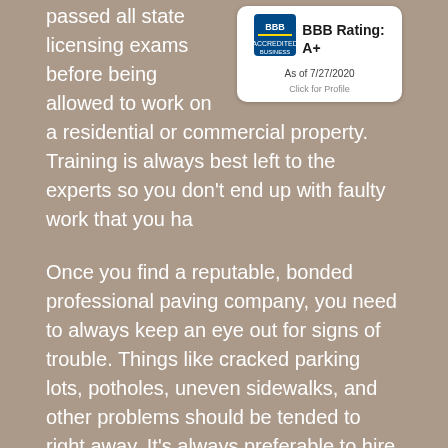passed all state licensing exams before being allowed to work on a residential or commercial property. Training is always best left to the experts so you don't end up with faulty work that you ha...
[Figure (logo): BBB Accredited Business badge showing BBB Rating: A+ as of 7/27/2020 with a Click for Profile link]
Once you find a reputable, bonded professional paving company, you need to always keep an eye out for signs of trouble. Things like cracked parking lots, potholes, uneven sidewalks, and other problems should be tended to right away. It's always preferable to hire a local contractor over an international one. The traffic in your area can make it difficult for a foreign contractor to do a professional job. They may not be familiar with the area and may even arrive late sometimes, which could cause problems as your neighbors may become annoyed.
It's also important that you check out their years of